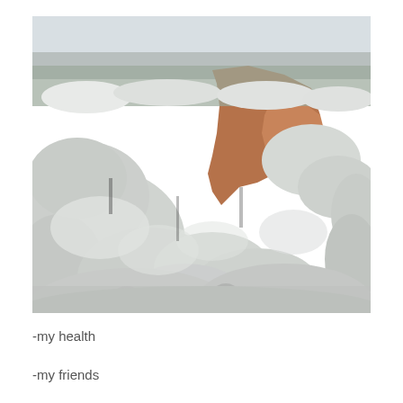[Figure (photo): A winter landscape photograph showing snow-covered evergreen trees and shrubs filling most of the frame. A canyon or ravine with exposed reddish-brown rock walls is visible in the middle-right area. The sky is overcast and grey. Heavy snow coats all the vegetation, creating a white blanket over the scene.]
-my health
-my friends